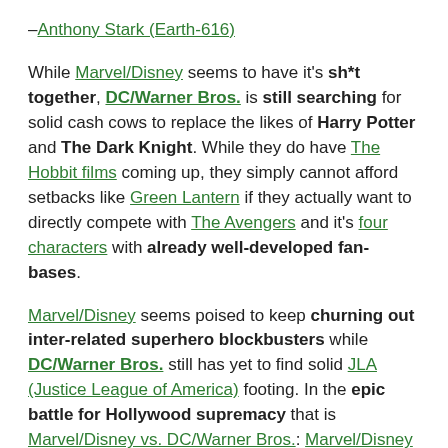–Anthony Stark (Earth-616)
While Marvel/Disney seems to have it's sh*t together, DC/Warner Bros. is still searching for solid cash cows to replace the likes of Harry Potter and The Dark Knight. While they do have The Hobbit films coming up, they simply cannot afford setbacks like Green Lantern if they actually want to directly compete with The Avengers and it's four characters with already well-developed fan-bases.
Marvel/Disney seems poised to keep churning out inter-related superhero blockbusters while DC/Warner Bros. still has yet to find solid JLA (Justice League of America) footing. In the epic battle for Hollywood supremacy that is Marvel/Disney vs. DC/Warner Bros.: Marvel/Disney is cleaning house.